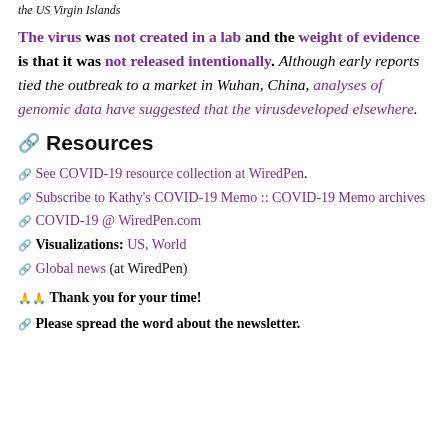the US Virgin Islands
The virus was not created in a lab and the weight of evidence is that it was not released intentionally. Although early reports tied the outbreak to a market in Wuhan, China, analyses of genomic data have suggested that the virusdeveloped elsewhere.
🔗 Resources
🔗 See COVID-19 resource collection at WiredPen.
🔗 Subscribe to Kathy's COVID-19 Memo :: COVID-19 Memo archives
🔗 COVID-19 @ WiredPen.com
🔗 Visualizations: US, World
🔗 Global news (at WiredPen)
🙏🙏 Thank you for your time!
🔗 Please spread the word about the newsletter.